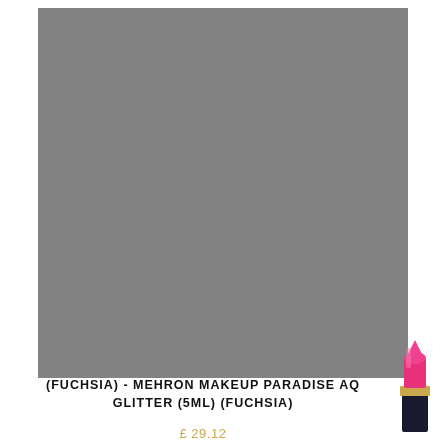[Figure (photo): Large grey/medium grey square product image placeholder for Mehron Makeup Paradise AQ Glitter in Fuchsia]
[Figure (illustration): Small fuchsia pink lipstick with gold band and dark tube, shown at bottom right corner]
(FUCHSIA) - MEHRON MAKEUP PARADISE AQ GLITTER (5ML) (FUCHSIA)
£ 29.12